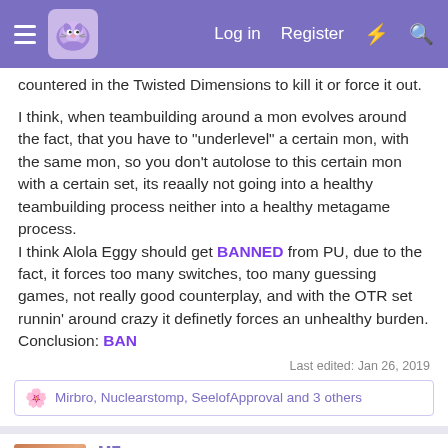Navigation bar with logo, Log in, Register links
countered in the Twisted Dimensions to kill it or force it out.
I think, when teambuilding around a mon evolves around the fact, that you have to "underlevel" a certain mon, with the same mon, so you don't autolose to this certain mon with a certain set, its reaally not going into a healthy teambuilding process neither into a healthy metagame process.
I think Alola Eggy should get BANNED from PU, due to the fact, it forces too many switches, too many guessing games, not really good counterplay, and with the OTR set runnin' around crazy it definetly forces an unhealthy burden.
Conclusion: BAN
Last edited: Jan 26, 2019
Mirbro, Nuclearstomp, SeelofApproval and 3 others
MZ
Ad - Clover-Live Stream Dating - Download